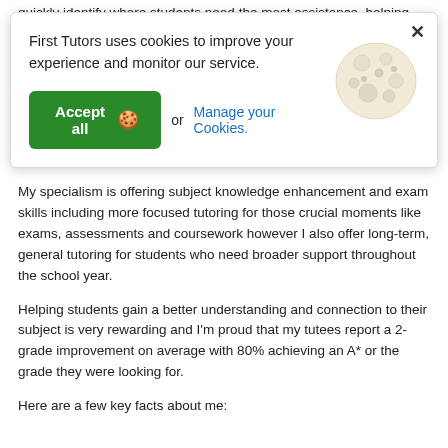quickly identify where students need the most assistance, helping
[Figure (other): Cookie consent modal with 'Accept all' button, 'Manage your Cookies' link, close X button, and a cookie illustration]
challenges, and ensuring they know I'm there to help.
My specialism is offering subject knowledge enhancement and exam skills including more focused tutoring for those crucial moments like exams, assessments and coursework however I also offer long-term, general tutoring for students who need broader support throughout the school year.
Helping students gain a better understanding and connection to their subject is very rewarding and I'm proud that my tutees report a 2-grade improvement on average with 80% achieving an A* or the grade they were looking for.
Here are a few key facts about me: